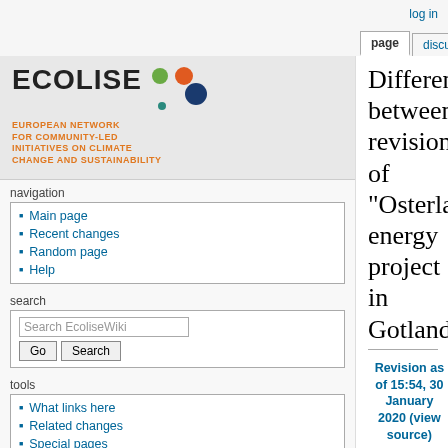log in
page | discussion | view source | history
[Figure (logo): ECOLISE logo with colored dots and subtitle: EUROPEAN NETWORK FOR COMMUNITY-LED INITIATIVES ON CLIMATE CHANGE AND SUSTAINABILITY]
navigation
Main page
Recent changes
Random page
Help
search
Search EcoliseWiki / Go / Search buttons
tools
What links here
Related changes
Special pages
Printable version
Permanent link
Difference between revisions of "Osterland energy project in Gotland"
Revision as of 15:54, 30 January 2020 (view source) Iva Pocock (talk | contribs) (Created page with " Spearheading a local energy system in Gotland, Sweden Austerland Energi is an ambitious and holistic project in a rural area of 142 kms, 900
Revision as of 15:56, 30 January 2020 (view source) Iva Pocock (talk | contribs) Newer edit →